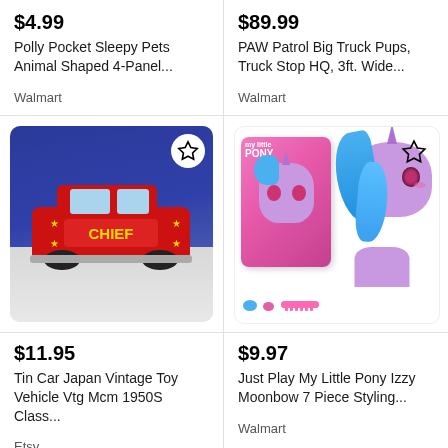$4.99
Polly Pocket Sleepy Pets Animal Shaped 4-Panel...
Walmart
$89.99
PAW Patrol Big Truck Pups, Truck Stop HQ, 3ft. Wide...
Walmart
[Figure (photo): Vintage tin red toy car labeled CHIEF on blue and white background]
[Figure (photo): My Little Pony Izzy Moonbow styling head toy with box, blue hair, pink accessories]
$11.95
Tin Car Japan Vintage Toy Vehicle Vtg Mcm 1950S Class...
Etsy
$9.97
Just Play My Little Pony Izzy Moonbow 7 Piece Styling...
Walmart